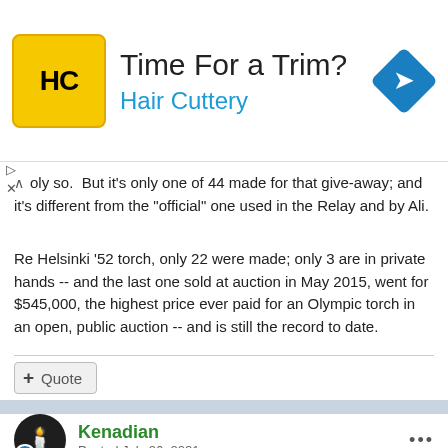[Figure (illustration): Hair Cuttery advertisement banner with yellow HC logo, text 'Time For a Trim? Hair Cuttery', and a blue diamond-shaped direction arrow icon on the right]
oly so.  But it's only one of 44 made for that give-away; and it's different from the "official" one used in the Relay and by Ali.
Re Helsinki '52 torch, only 22 were made; only 3 are in private hands -- and the last one sold at auction in May 2015, went for $545,000, the highest price ever paid for an Olympic torch in an open, public auction -- and is still the record to date.
Quote
Kenadian
Posted July 26, 2021
On 7/26/2021 at 11:48 AM, Palette36 said: